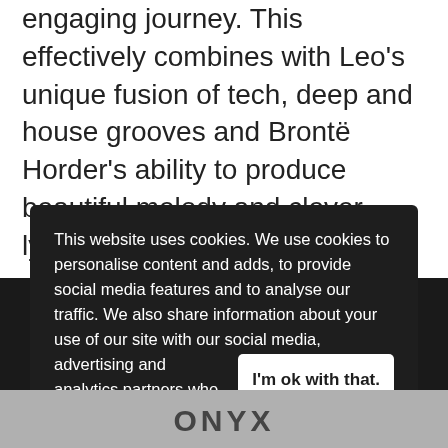engaging journey. This effectively combines with Leo's unique fusion of tech, deep and house grooves and Brontë Horder's ability to produce beautiful melody and clever lyricism.
This website uses cookies. We use cookies to personalise content and adds, to provide social media features and to analyse our traffic. We also share information about your use of our site with our social media, advertising and analytics partners who may combine it with other information that you've provided to them or that they've collected from your use of their services. Learn more
[Figure (screenshot): Cookie consent modal overlay on a dark background, with an 'I'm ok with that.' button]